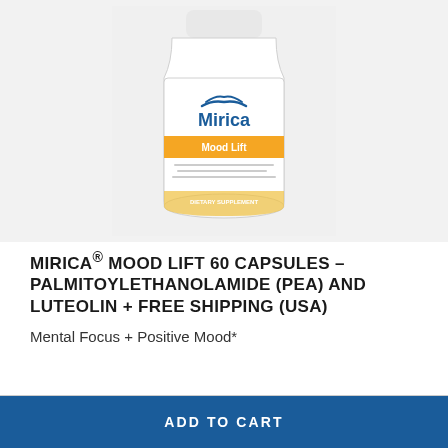[Figure (photo): White supplement bottle labeled Mirica Mood Lift with blue logo and orange accent band, on light gray background]
MIRICA® MOOD LIFT 60 CAPSULES – PALMITOYLETHANOLAMIDE (PEA) AND LUTEOLIN + FREE SHIPPING (USA)
Mental Focus + Positive Mood*
ADD TO CART